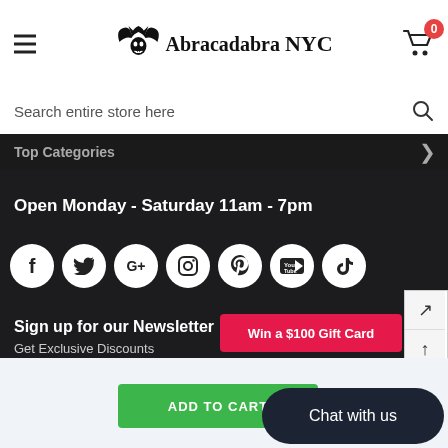Abracadabra NYC - header with hamburger menu, logo, and cart
Search entire store here
Top Categories
Open Monday - Saturday 11am - 7pm
[Figure (other): Social media icons: Facebook, Twitter, Google+, Instagram, Pinterest, YouTube, TikTok]
Sign up for our Newsletter
Get Exclusive Discounts
Win a $100 Gift Card
enter your email address
ADD TO CART
Chat with us